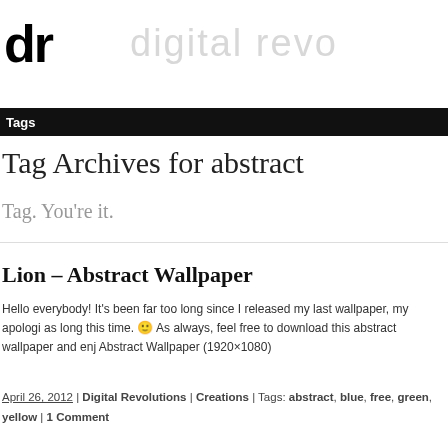dr  digital revo
Tags
Tag Archives for abstract
Tag. You're it.
Lion – Abstract Wallpaper
Hello everybody! It's been far too long since I released my last wallpaper, my apologi as long this time. 🙂 As always, feel free to download this abstract wallpaper and enj Abstract Wallpaper (1920×1080)
April 26, 2012 | Digital Revolutions | Creations | Tags: abstract, blue, free, green, yellow | 1 Comment